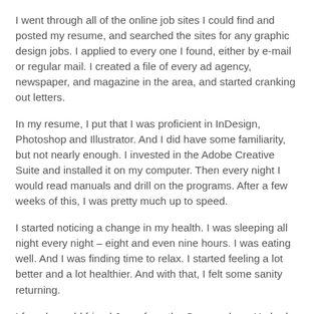I went through all of the online job sites I could find and posted my resume, and searched the sites for any graphic design jobs. I applied to every one I found, either by e-mail or regular mail. I created a file of every ad agency, newspaper, and magazine in the area, and started cranking out letters.
In my resume, I put that I was proficient in InDesign, Photoshop and Illustrator. And I did have some familiarity, but not nearly enough. I invested in the Adobe Creative Suite and installed it on my computer. Then every night I would read manuals and drill on the programs. After a few weeks of this, I was pretty much up to speed.
I started noticing a change in my health. I was sleeping all night every night – eight and even nine hours. I was eating well. And I was finding time to relax. I started feeling a lot better and a lot healthier. And with that, I felt some sanity returning.
I found my old friend Jerry, from the Canyon days. He had his own video production company in Burbank, and I went down... Sunday, and spent the day with him. He was glad